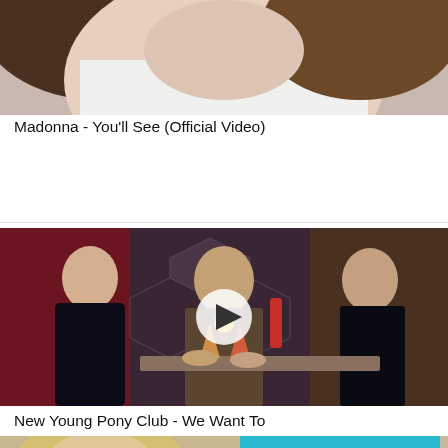[Figure (screenshot): Cropped video thumbnail showing top portion of a person, partially visible, light background - Madonna You'll See Official Video]
Madonna - You'll See (Official Video)
[Figure (screenshot): Video thumbnail showing three people at a bar - two women and a man with a mustache. A play button overlay is visible in the center. Dark moody lighting. New Young Pony Club - We Want To]
New Young Pony Club - We Want To
[Figure (screenshot): Partially visible video thumbnail at the bottom showing two people and a teal/blue graphic with text 'BRAND NEW ME' partially visible]